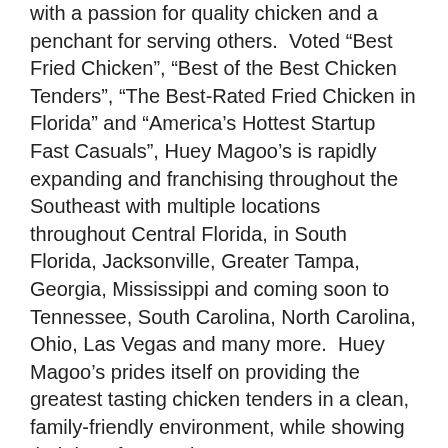with a passion for quality chicken and a penchant for serving others.  Voted “Best Fried Chicken”, “Best of the Best Chicken Tenders”, “The Best-Rated Fried Chicken in Florida” and “America’s Hottest Startup Fast Casuals”, Huey Magoo’s is rapidly expanding and franchising throughout the Southeast with multiple locations throughout Central Florida, in South Florida, Jacksonville, Greater Tampa, Georgia, Mississippi and coming soon to Tennessee, South Carolina, North Carolina, Ohio, Las Vegas and many more.  Huey Magoo’s prides itself on providing the greatest tasting chicken tenders in a clean, family-friendly environment, while showing their love for people.  Huey Magoo’s delivers delicious, cooked-to-order chicken tenders, and they do it to perfection.  Huey Magoo’s gives back a portion of profits to not-for-profit organizations and community groups.  Committed to building a culture of excellence in service and food quality by serving only premium hand-breaded or grilled chicken tenders dipped or “sauced” in